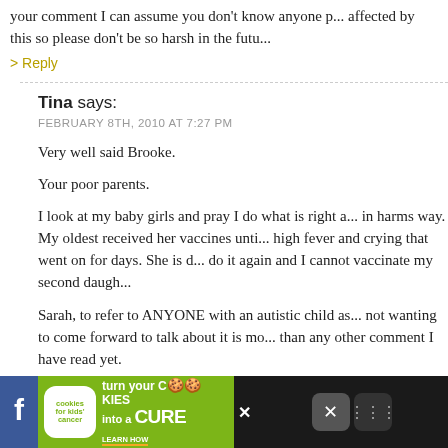your comment I can assume you don't know anyone affected by this so please don't be so harsh in the future
> Reply
Tina says: FEBRUARY 8TH, 2010 AT 7:27 PM
Very well said Brooke.

Your poor parents.

I look at my baby girls and pray I do what is right and don't put them in harms way. My oldest received her vaccines until she had a very high fever and crying that went on for days. She is ok but I could not do it again and I cannot vaccinate my second daughter.

Sarah, to refer to ANYONE with an autistic child as not wanting to come forward to talk about it is more harmful than any other comment I have read yet.
> Reply
[Figure (other): Advertisement banner: cookies for kids' cancer - turn your cookies into a CURE LEARN HOW]